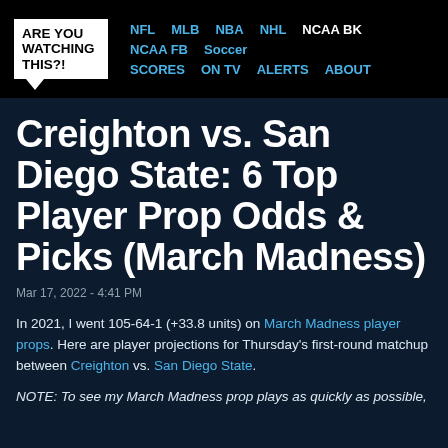ARE YOU WATCHING THIS?! | NFL MLB NBA NHL NCAA BK | NCAA FB Soccer | SCORES ON TV ALERTS ABOUT
Creighton vs. San Diego State: 6 Top Player Prop Odds & Picks (March Madness)
Mar 17, 2022 - 4:41 PM
In 2021, I went 105-64-1 (+33.8 units) on March Madness player props. Here are player projections for Thursday's first-round matchup between Creighton vs. San Diego State.
NOTE: To see my March Madness prop plays as quickly as possible,